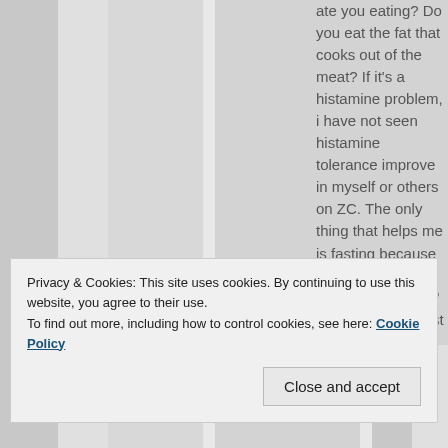ate you eating? Do you eat the fat that cooks out of the meat? If it's a histamine problem, i have not seen histamine tolerance improve in myself or others on ZC. The only thing that helps me is fasting because it empties my histamine "bucket" and stabilizes mast cells (which degranulate and release histamines endogenously), this giving me the ability to tolerate more histamines for a time
Privacy & Cookies: This site uses cookies. By continuing to use this website, you agree to their use. To find out more, including how to control cookies, see here: Cookie Policy
Close and accept